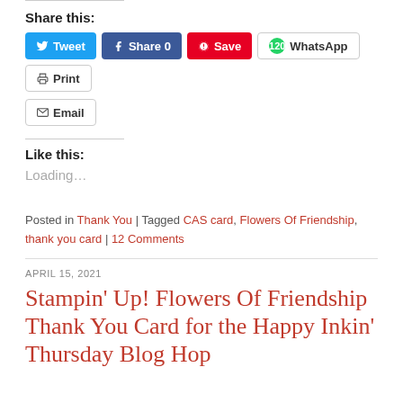Share this:
[Figure (other): Social share buttons: Tweet, Share 0, Save, WhatsApp (120), Print, Email]
Like this:
Loading...
Posted in Thank You | Tagged CAS card, Flowers Of Friendship, thank you card | 12 Comments
APRIL 15, 2021
Stampin' Up! Flowers Of Friendship Thank You Card for the Happy Inkin' Thursday Blog Hop